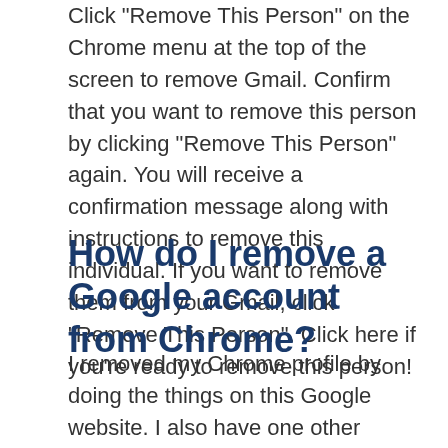Click "Remove This Person" on the Chrome menu at the top of the screen to remove Gmail. Confirm that you want to remove this person by clicking "Remove This Person" again. You will receive a confirmation message along with instructions to remove this individual. If you want to remove them from your Gmail, click "Remove This Person". Click here if you're ready to remove this person!
How do I remove a Google account from Chrome?
I removed my Chrome profile by doing the things on this Google website. I also have one other profile that I use on my computer to type this web page. I can get back to it if someone wants to look at the profile later.